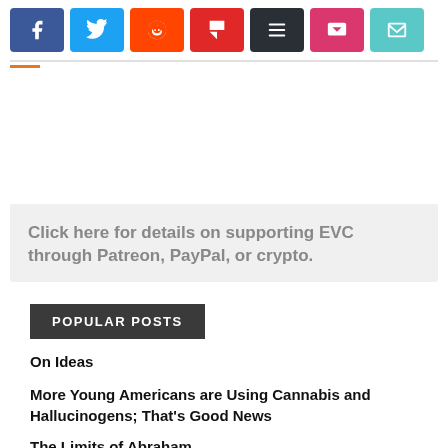[Figure (infographic): Social share buttons row: Facebook (blue), Twitter (light blue), Reddit (orange-red), Flipboard (dark red), Buffer (dark gray), Pocket (pink-red), Email (teal)]
Click here for details on supporting EVC through Patreon, PayPal, or crypto.
POPULAR POSTS
On Ideas
More Young Americans are Using Cannabis and Hallucinogens; That's Good News
The Limits of Abraham...